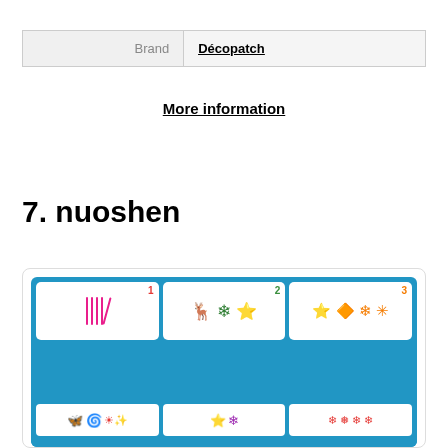| Brand |  |
| --- | --- |
| Brand | Décopatch |
More information
7. nuoshen
[Figure (photo): Product card showing nuoshen stamp sets with colorful icons on blue background, numbered cards with tally marks and decorative symbols]
As an Amazon Associate I earn from qualifying purchases. This website uses the only necessary cookies to ensure you get the best experience on our website. More information